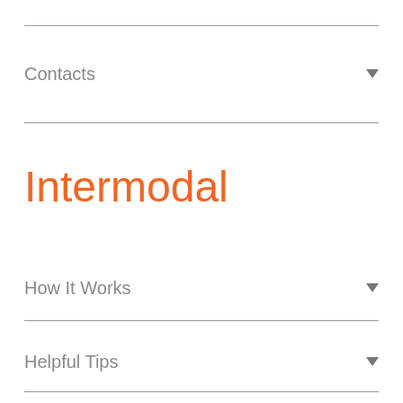Contacts
Intermodal
How It Works
Helpful Tips